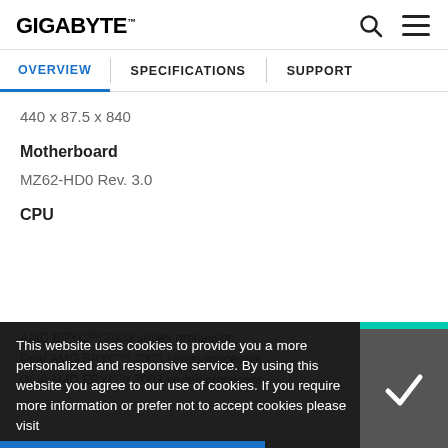GIGABYTE
OVERVIEW | SPECIFICATIONS | SUPPORT
440 x 87.5 x 840
Motherboard
MZ62-HD0 Rev. 3.0
CPU
This website uses cookies to provide you a more personalized and responsive service. By using this website you agree to our use of cookies. If you require more information or prefer not to accept cookies please visit